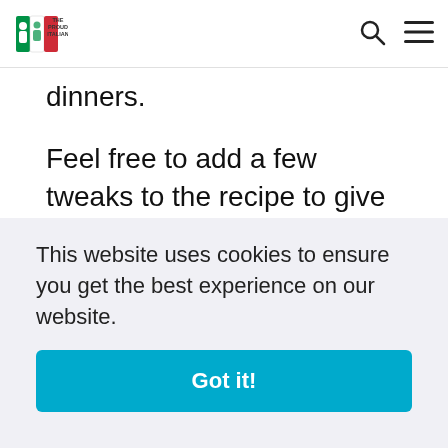The Proud Italian
dinners.
Feel free to add a few tweaks to the recipe to give it a personal touch. Apart from the suggestions shared here, you can try any other trick you have. I hope you enjoy your first Italian cake when you try the recipe shared in this article. Goditi la tua torta!
This website uses cookies to ensure you get the best experience on our website.
Got it!